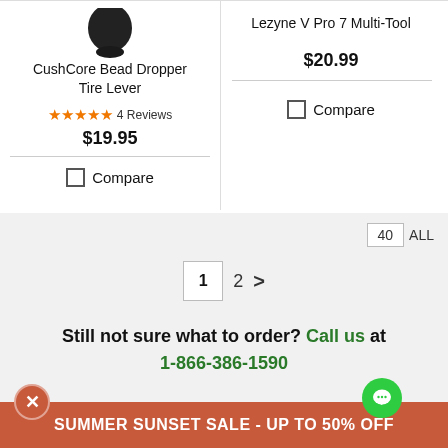CushCore Bead Dropper Tire Lever
★★★★★ 4 Reviews
$19.95
Compare
Lezyne V Pro 7 Multi-Tool
$20.99
Compare
40 ALL
1 2 >
Still not sure what to order? Call us at 1-866-386-1590
SUMMER SUNSET SALE - UP TO 50% OFF